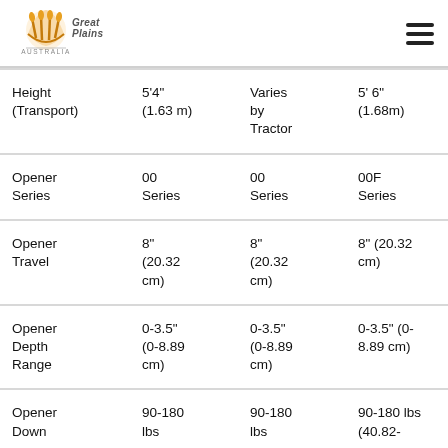Great Plains Australia logo and navigation menu
| Spec | Col1 | Col2 | Col3 | Col4 |
| --- | --- | --- | --- | --- |
| Height (Transport) | 5'4" (1.63 m) | Varies by Tractor | 5' 6" (1.68m) | Varies by Tractor |
| Opener Series | 00 Series | 00 Series | 00F Series | 00 Series |
| Opener Travel | 8" (20.32 cm) | 8" (20.32 cm) | 8" (20.32 cm) | 8" (20.32 cm) |
| Opener Depth Range | 0-3.5" (0-8.89 cm) | 0-3.5" (0-8.89 cm) | 0-3.5" (0-8.89 cm) | 0-3.5" (0-8.89 cm) |
| Opener Down | 90-180 lbs | 90-180 lbs | 90-180 lbs (40.82- | 90- lbs |